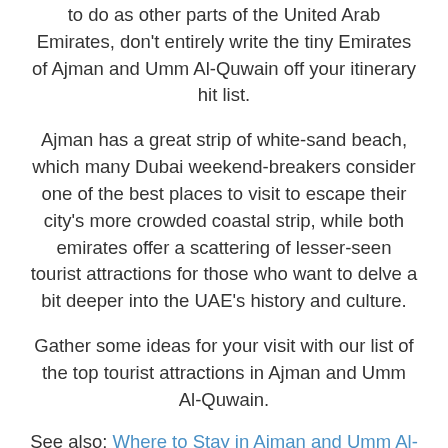to do as other parts of the United Arab Emirates, don't entirely write the tiny Emirates of Ajman and Umm Al-Quwain off your itinerary hit list.
Ajman has a great strip of white-sand beach, which many Dubai weekend-breakers consider one of the best places to visit to escape their city's more crowded coastal strip, while both emirates offer a scattering of lesser-seen tourist attractions for those who want to delve a bit deeper into the UAE's history and culture.
Gather some ideas for your visit with our list of the top tourist attractions in Ajman and Umm Al-Quwain.
See also: Where to Stay in Ajman and Umm Al-Quwain